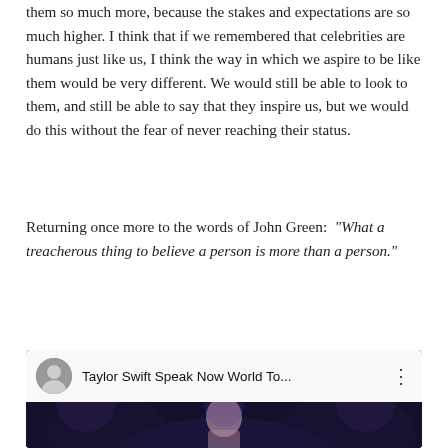them so much more, because the stakes and expectations are so much higher. I think that if we remembered that celebrities are humans just like us, I think the way in which we aspire to be like them would be very different. We would still be able to look to them, and still be able to say that they inspire us, but we would do this without the fear of never reaching their status.
Returning once more to the words of John Green: “What a treacherous thing to believe a person is more than a person.”
[Figure (screenshot): YouTube video embed thumbnail showing Taylor Swift Speak Now World To... with a circular avatar, video title, three-dot menu, and a red play button over a dark concert background featuring Taylor Swift]